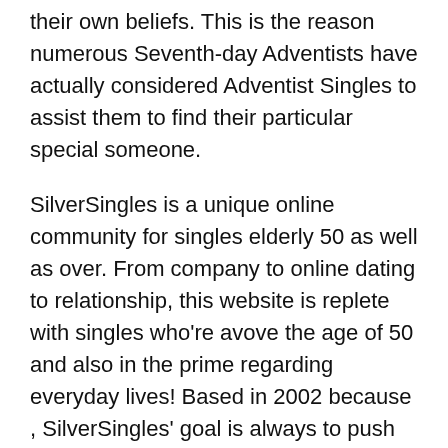their own beliefs. This is the reason numerous Seventh-day Adventists have actually considered Adventist Singles to assist them to find their particular special someone.
SilverSingles is a unique online community for singles elderly 50 as well as over. From company to online dating to relationship, this website is replete with singles who're avove the age of 50 and also in the prime regarding everyday lives! Based in 2002 because , SilverSingles' goal is always to push like-minded singles exactly who display comparable activities with each other in a secure, clean, and enjoyable planet. Many mature singles bring accompanied the website assured of conference and connecting together with other both women and men within a€?silvera€? years!